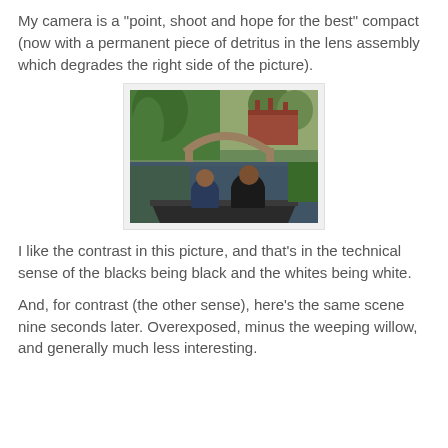My camera is a "point, shoot and hope for the best" compact (now with a permanent piece of detritus in the lens assembly which degrades the right side of the picture).
[Figure (photo): Two people sitting at the front of a narrow boat on a canal, viewed from behind, with a stone arched bridge ahead, weeping willow trees, and red brick buildings in the background.]
I like the contrast in this picture, and that's in the technical sense of the blacks being black and the whites being white.
And, for contrast (the other sense), here's the same scene nine seconds later. Overexposed, minus the weeping willow, and generally much less interesting.